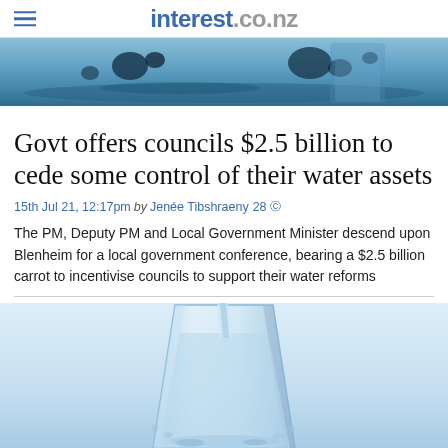interest.co.nz
[Figure (photo): Close-up photo of water droplets/splashing water on a blue surface with a glass in background]
Govt offers councils $2.5 billion to cede some control of their water assets
15th Jul 21, 12:17pm by Jenée Tibshraeny 28
The PM, Deputy PM and Local Government Minister descend upon Blenheim for a local government conference, bearing a $2.5 billion carrot to incentivise councils to support their water reforms
[Figure (photo): Photo of water being poured into a clear glass against a light blue background]